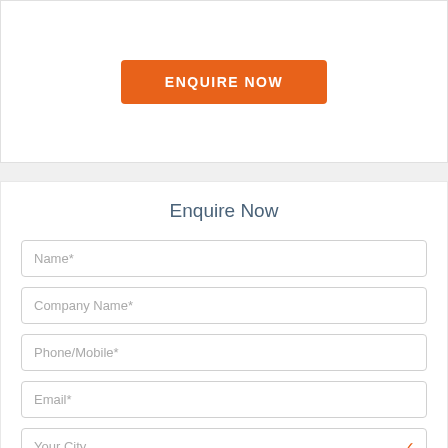[Figure (screenshot): Orange 'ENQUIRE NOW' button centered in white section]
Enquire Now
Name*
Company Name*
Phone/Mobile*
Email*
Your City